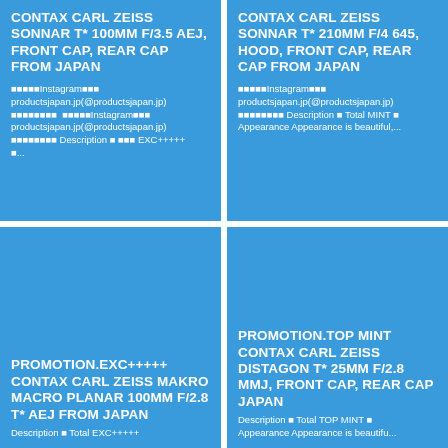[Figure (other): Blue card: CONTAX CARL ZEISS SONNAR T* 100MM F/3.5 AEJ, FRONT CAP, REAR CAP FROM JAPAN with Japanese text and productsjapan.jp description]
[Figure (other): Blue card: CONTAX CARL ZEISS SONNAR T* 210MM F/4 645, HOOD, FRONT CAP, REAR CAP FROM JAPAN with Japanese text and productsjapan.jp description]
[Figure (other): Blue card: PROMOTION.EXC+++++ CONTAX CARL ZEISS MAKRO MACRO PLANAR 100MM F/2.8 T* AEJ FROM JAPAN with description]
[Figure (other): Blue card: PROMOTION.TOP MINT CONTAX CARL ZEISS DISTAGON T* 25MM F/2.8 MMJ, FRONT CAP, REAR CAP JAPAN with description]